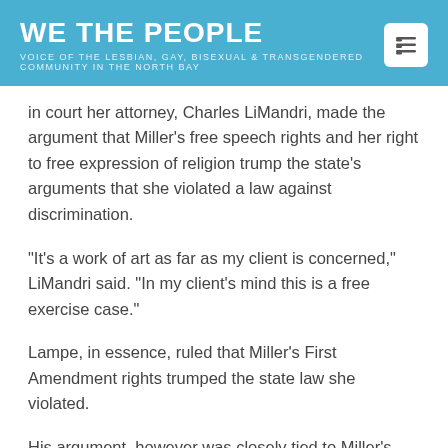WE THE PEOPLE — VOICE OF THE LESBIAN, GAY, BISEXUAL & TRANSGENDERED COMMUNITY IN THE NORTH BAY
in court her attorney, Charles LiMandri, made the argument that Miller's free speech rights and her right to free expression of religion trump the state's arguments that she violated a law against discrimination.
“It's a work of art as far as my client is concerned,” LiMandri said. “In my client's mind this is a free exercise case.”
Lampe, in essence, ruled that Miller’s First Amendment rights trumped the state law she violated.
His argument, however was closely tied to Miller’s role as an artist in producing cakes which – he found – are protected artistic expression.
“A wedding cake is not just a cake in a Free Speech